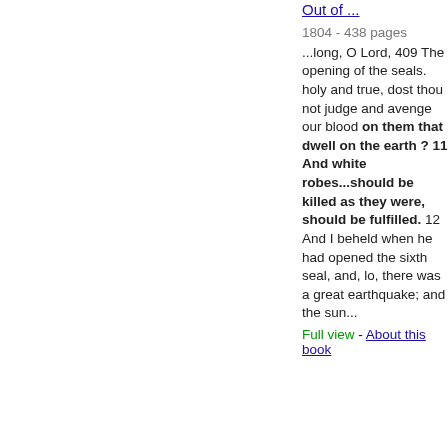Out of ...
1804 - 438 pages
...long, O Lord, 409 The opening of the seals. holy and true, dost thou not judge and avenge our blood on them that dwell on the earth ? 11 And white robes...should be killed as they were, should be fulfilled. 12 And I beheld when he had opened the sixth seal, and, lo, there was a great earthquake; and the sun...
Full view - About this book